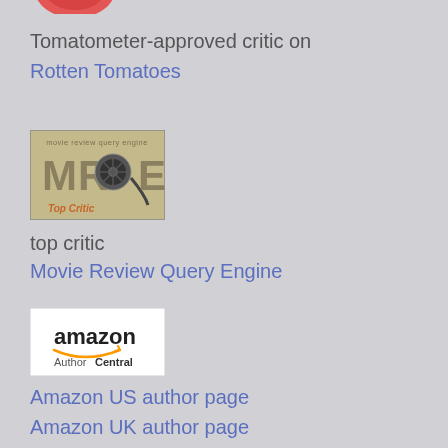[Figure (logo): Partial Rotten Tomatoes logo (tomato icon, bottom portion visible)]
Tomatometer-approved critic on
Rotten Tomatoes
[Figure (logo): MRQE (Movie Review Query Engine) Top Critic badge — tan/brown background with film reel and MRQE text]
top critic
Movie Review Query Engine
[Figure (logo): Amazon Author Central logo — white background with amazon smile and AuthorCentral text]
Amazon US author page
Amazon UK author page